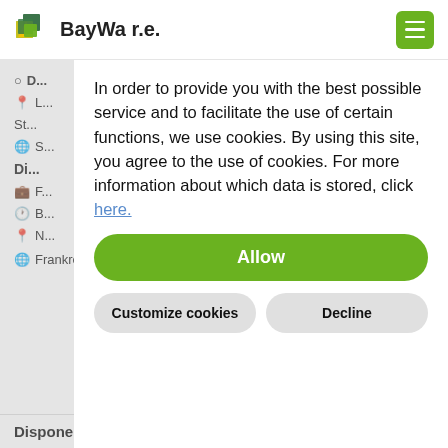BayWa r.e.
In order to provide you with the best possible service and to facilitate the use of certain functions, we use cookies. By using this site, you agree to the use of cookies. For more information about which data is stored, click here.
Allow
Customize cookies
Decline
Frankreich
Disponent:in / Kommunikationsprofi (m/w/d)